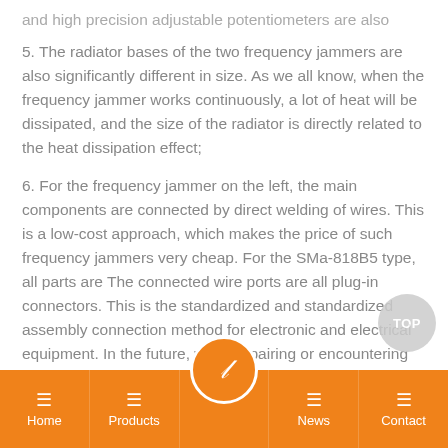and high precision adjustable potentiometers are also selected;
5. The radiator bases of the two frequency jammers are also significantly different in size. As we all know, when the frequency jammer works continuously, a lot of heat will be dissipated, and the size of the radiator is directly related to the heat dissipation effect;
6. For the frequency jammer on the left, the main components are connected by direct welding of wires. This is a low-cost approach, which makes the price of such frequency jammers very cheap. For the SMa-818B5 type, all parts are The connected wire ports are all plug-in connectors. This is the standardized and standardized assembly connection method for electronic and electrical equipment. In the future, when repairing or encountering component failures, it is very convenient to replace parts by plugging and unplugging. parts;
Home | Products | News | Contact